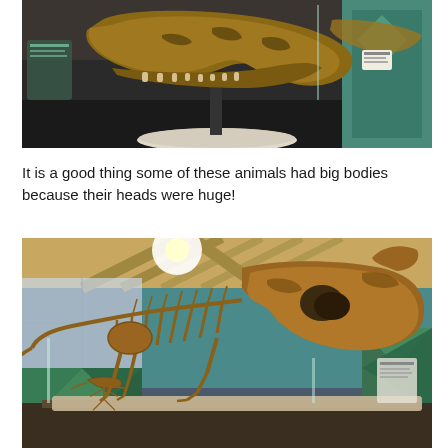[Figure (photo): Museum display showing a large dinosaur skull fossil mounted on a stand, with informational panels and display cases in the background. The skull appears to be a ceratopsian or similarly large-headed dinosaur. The museum has a modern interior with teal/green decorative elements.]
It is a good thing some of these animals had big bodies because their heads were huge!
[Figure (photo): Museum display showing two dinosaur skeletons on a platform. The larger skeleton in the foreground is a complete mounted dinosaur fossil with a large skull, visible ribcage and spine. A smaller skeleton is visible in the background. The museum features wooden beam ceiling architecture, large windows, and green geometric decorative wall panels.]